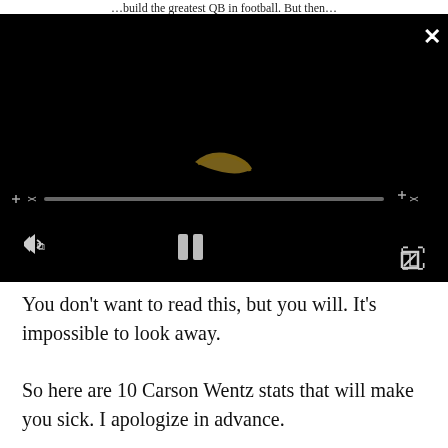…build the greatest QB in football. But then…
[Figure (screenshot): Embedded video player with black background showing a blurry golden swoosh/shape in the center. Video controls include a progress/seek bar across the middle, volume icon on the lower left, pause button in the lower center, and fullscreen expand icon on the lower right. An X close button is in the upper right corner.]
You don’t want to read this, but you will. It's impossible to look away.
So here are 10 Carson Wentz stats that will make you sick. I apologize in advance.